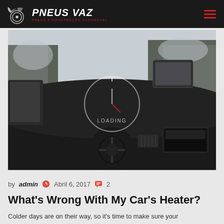PNEUS VAZ — Pneus & Manutenção Automóvel
[Figure (photo): Interior view of a car dashboard with steering wheel, looking through windshield at a snowy winter road lined with snow-covered pine trees. A loading spinner circle overlay is visible in the center of the image.]
by admin  Abril 6, 2017  2
What's Wrong With My Car's Heater?
Colder days are on their way, so it's time to make sure your